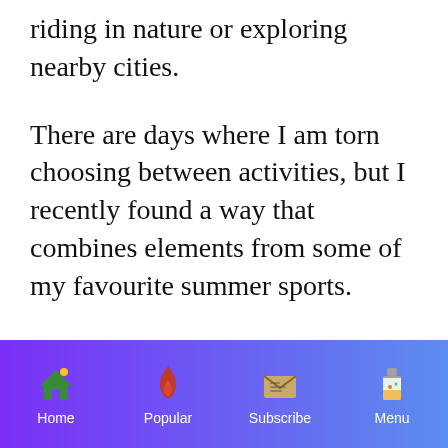riding in nature or exploring nearby cities.
There are days where I am torn choosing between activities, but I recently found a way that combines elements from some of my favourite summer sports.
WHAT IS A KAYATAMARAN?
Meet the Hobie Mirage Tandem Island.
[Figure (photo): Dark navy/black image bar visible at bottom of content area, likely a photo of a kayatamaran]
Home  Popular  Subscribe  Menu